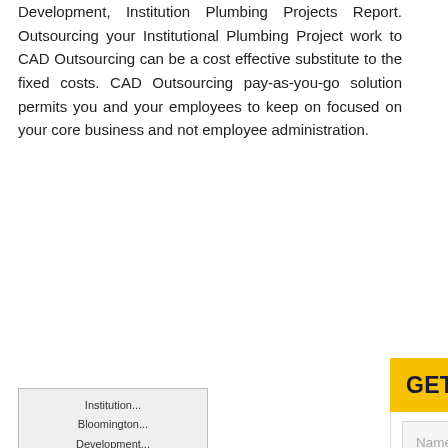Development, Institution Plumbing Projects Report. Outsourcing your Institutional Plumbing Project work to CAD Outsourcing can be a cost effective substitute to the fixed costs. CAD Outsourcing pay-as-you-go solution permits you and your employees to keep on focused on your core business and not employee administration.
Institution... Bloomington... Development... Projects Bloo... Report Bl... Construction... Plumbing C...
Industrial Blooming
CAD Outsou... professionals... industry. Fun...
GET IN TOUCH WITH US
Name*
Email*
Phone*
Select Country
Details